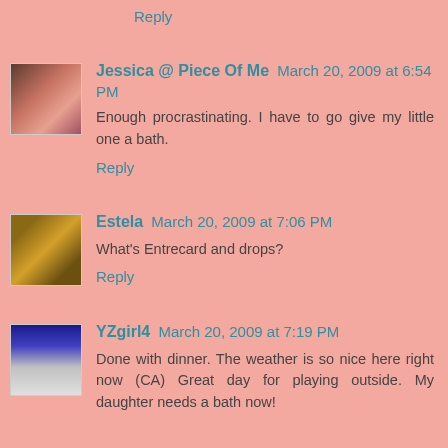Sounds like you'll be having more fun than me.
Reply
Jessica @ Piece Of Me  March 20, 2009 at 6:54 PM
Enough procrastinating. I have to go give my little one a bath.
Reply
Estela  March 20, 2009 at 7:06 PM
What's Entrecard and drops?
Reply
YZgirl4  March 20, 2009 at 7:19 PM
Done with dinner. The weather is so nice here right now (CA) Great day for playing outside. My daughter needs a bath now!